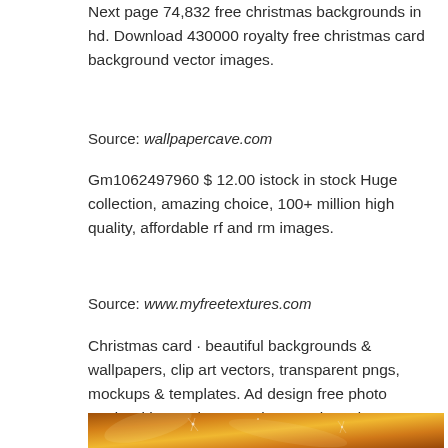Next page 74,832 free christmas backgrounds in hd. Download 430000 royalty free christmas card background vector images.
Source: wallpapercave.com
Gm1062497960 $ 12.00 istock in stock Huge collection, amazing choice, 100+ million high quality, affordable rf and rm images.
Source: www.myfreetextures.com
Christmas card · beautiful backgrounds & wallpapers, clip art vectors, transparent pngs, mockups & templates. Ad design free photo cards with premium templates tools and more with canva pro.
[Figure (photo): Bottom portion of a golden/orange Christmas background image with light effects and sparkles]